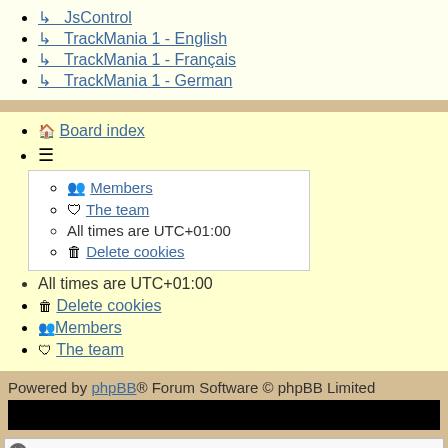↳ JsControl
↳ TrackMania 1 - English
↳ TrackMania 1 - Français
↳ TrackMania 1 - German
Board index
≡ (menu icon)
Members
The team
All times are UTC+01:00
Delete cookies
All times are UTC+01:00
Delete cookies
Members
The team
Powered by phpBB® Forum Software © phpBB Limited